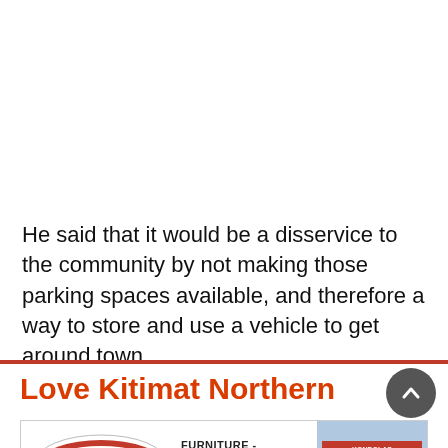He said that it would be a disservice to the community by not making those parking spaces available, and therefore a way to store and use a vehicle to get around town.
[Figure (other): Advertisement banner for 'Love Kitimat Northern' with Kondolas Furniture - Mattresses Terrace ad below, showing logo and building photo]